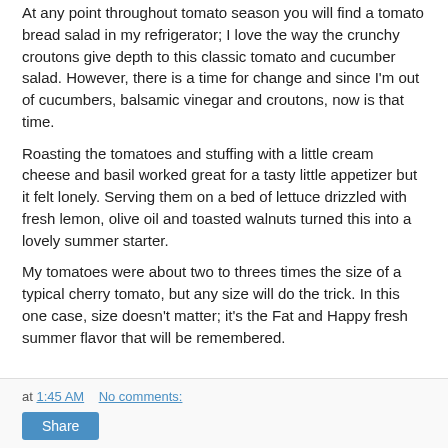At any point throughout tomato season you will find a tomato bread salad in my refrigerator; I love the way the crunchy croutons give depth to this classic tomato and cucumber salad. However, there is a time for change and since I'm out of cucumbers, balsamic vinegar and croutons, now is that time.
Roasting the tomatoes and stuffing with a little cream cheese and basil worked great for a tasty little appetizer but it felt lonely. Serving them on a bed of lettuce drizzled with fresh lemon, olive oil and toasted walnuts turned this into a lovely summer starter.
My tomatoes were about two to threes times the size of a typical cherry tomato, but any size will do the trick. In this one case, size doesn't matter; it's the Fat and Happy fresh summer flavor that will be remembered.
at 1:45 AM   No comments:   Share